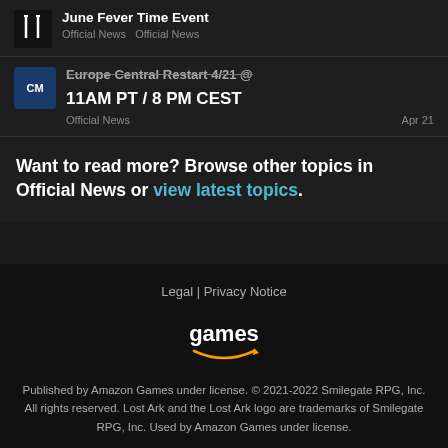June Fever Time Event
Official News  Official News
Europe Central Restart 4/21 @ 11AM PT / 8 PM CEST
Official News  Apr 21
Want to read more? Browse other topics in Official News or view latest topics.
Legal | Privacy Notice
[Figure (logo): Amazon Games logo with 'games' text and Amazon arrow]
Published by Amazon Games under license. © 2021-2022 Smilegate RPG, Inc. All rights reserved. Lost Ark and the Lost Ark logo are trademarks of Smilegate RPG, Inc. Used by Amazon Games under license.